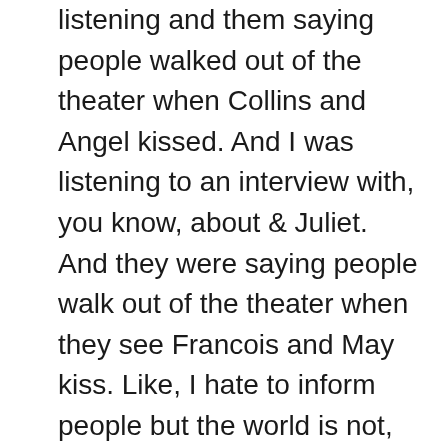listening and them saying people walked out of the theater when Collins and Angel kissed. And I was listening to an interview with, you know, about & Juliet. And they were saying people walk out of the theater when they see Francois and May kiss. Like, I hate to inform people but the world is not, as you know, as accepting as we think it is. We can ask for both. I always say you can do both, you can ask for more representation in the form of new musical theater of Asian queer writ... you know, like Interstate, Akira & th... Merpeople Musical, Peter and the Wave, which are all three Asian-American musical theater pieces that are new, that are all queer. And then you also want to demand more from your revivals and